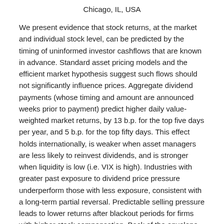Chicago, IL, USA
We present evidence that stock returns, at the market and individual stock level, can be predicted by the timing of uninformed investor cashflows that are known in advance. Standard asset pricing models and the efficient market hypothesis suggest such flows should not significantly influence prices. Aggregate dividend payments (whose timing and amount are announced weeks prior to payment) predict higher daily value-weighted market returns, by 13 b.p. for the top five days per year, and 5 b.p. for the top fifty days. This effect holds internationally, is weaker when asset managers are less likely to reinvest dividends, and is stronger when liquidity is low (i.e. VIX is high). Industries with greater past exposure to dividend price pressure underperform those with less exposure, consistent with a long-term partial reversal. Predictable selling pressure leads to lower returns after blackout periods for firms with higher stock compensation. Back of the envelope calculations